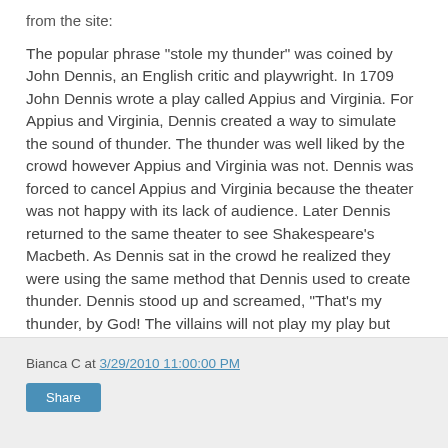from the site:
The popular phrase "stole my thunder" was coined by John Dennis, an English critic and playwright. In 1709 John Dennis wrote a play called Appius and Virginia. For Appius and Virginia, Dennis created a way to simulate the sound of thunder. The thunder was well liked by the crowd however Appius and Virginia was not. Dennis was forced to cancel Appius and Virginia because the theater was not happy with its lack of audience. Later Dennis returned to the same theater to see Shakespeare's Macbeth. As Dennis sat in the crowd he realized they were using the same method that Dennis used to create thunder. Dennis stood up and screamed, "That's my thunder, by God! The villains will not play my play but they steal my thunder."
As always, thanks for reading!!
Bianca C at 3/29/2010 11:00:00 PM